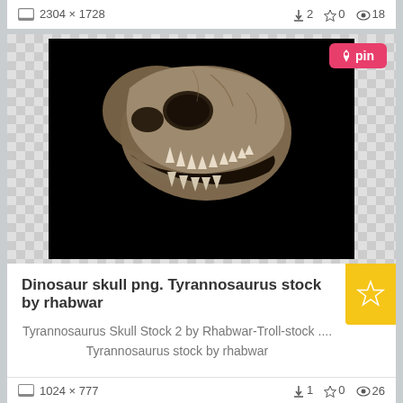2304 × 1728  ⬇2  ☆0  👁18
[Figure (photo): Tyrannosaurus skull photograph on black background, jaw open showing teeth]
Dinosaur skull png. Tyrannosaurus stock by rhabwar
Tyrannosaurus Skull Stock 2 by Rhabwar-Troll-stock .... Tyrannosaurus stock by rhabwar
1024 × 777  ⬇1  ☆0  👁26
[Figure (photo): Brown/orange dinosaur skull silhouette on dark background, side view]